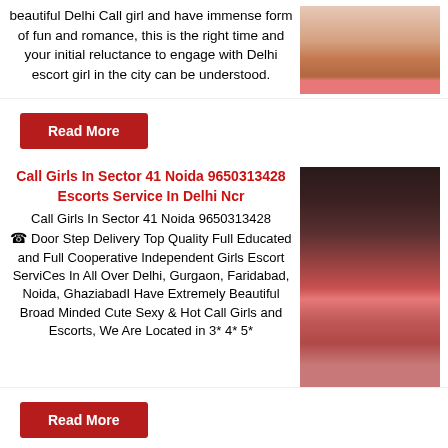beautiful Delhi Call girl and have immense form of fun and romance, this is the right time and your initial reluctance to engage with Delhi escort girl in the city can be understood.
[Figure (photo): Photo of woman in red lingerie]
Read More
Call Girls In Sector 41 Noida 9650313428 Escorts Service In Delhi Ncr
Call Girls In Sector 41 Noida 9650313428 ☎ Door Step Delivery Top Quality Full Educated and Full Cooperative Independent Girls Escort ServiCes In All Over Delhi, Gurgaon, Faridabad, Noida, GhaziabadI Have Extremely Beautiful Broad Minded Cute Sexy & Hot Call Girls and Escorts, We Are Located in 3* 4* 5*
[Figure (photo): Photo of woman in red lingerie seen from behind]
Read More
Call Girls In Sector 12 Noida 9650313428 Escorts Service In Delhi Ncr
[Figure (photo): Photo of woman's face]